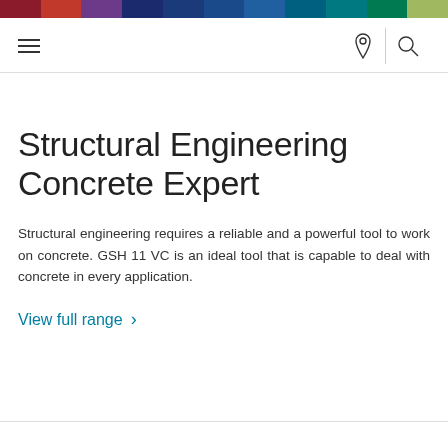[Figure (other): Colorful horizontal bar with multiple color segments: dark red, red, purple, dark navy, navy, dark blue, blue, teal, dark teal, green, light green]
Navigation bar with hamburger menu, location pin icon, and search icon
Structural Engineering Concrete Expert
Structural engineering requires a reliable and a powerful tool to work on concrete. GSH 11 VC is an ideal tool that is capable to deal with concrete in every application.
View full range >